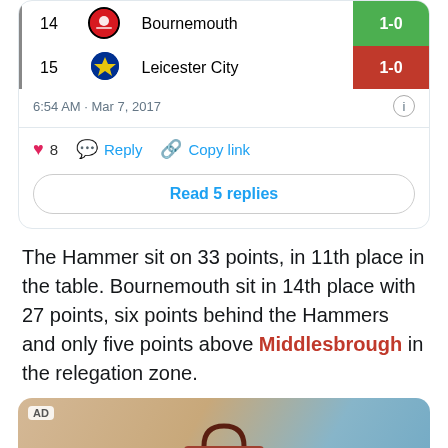[Figure (screenshot): Tweet card showing Premier League table rows for Bournemouth (14th, 1-0) and Leicester City (15th, 1-0), with timestamp 6:54 AM · Mar 7, 2017, like/reply/copy-link actions, and a Read 5 replies button.]
The Hammer sit on 33 points, in 11th place in the table. Bournemouth sit in 14th place with 27 points, six points behind the Hammers and only five points above Middlesbrough in the relegation zone.
[Figure (photo): Advertisement image showing a brown leather handbag against a beige and blue background, with AD label in top-left corner.]